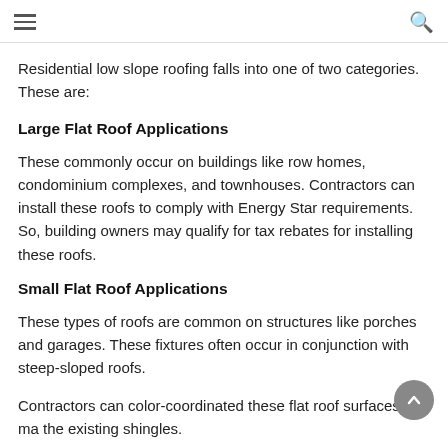≡  🔍
Residential low slope roofing falls into one of two categories. These are:
Large Flat Roof Applications
These commonly occur on buildings like row homes, condominium complexes, and townhouses. Contractors can install these roofs to comply with Energy Star requirements. So, building owners may qualify for tax rebates for installing these roofs.
Small Flat Roof Applications
These types of roofs are common on structures like porches and garages. These fixtures often occur in conjunction with steep-sloped roofs.
Contractors can color-coordinated these flat roof surfaces to ma the existing shingles.